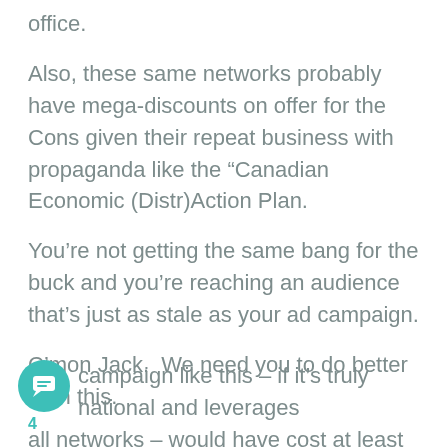office.
Also, these same networks probably have mega-discounts on offer for the Cons given their repeat business with propaganda like the “Canadian Economic (Distr)Action Plan.
You’re not getting the same bang for the buck and you’re reaching an audience that’s just as stale as your ad campaign.
C’mon Jack.  We need you to do better than this.
4
campaign like this – if it’s truly national and leverages all networks – would have cost at least a million.